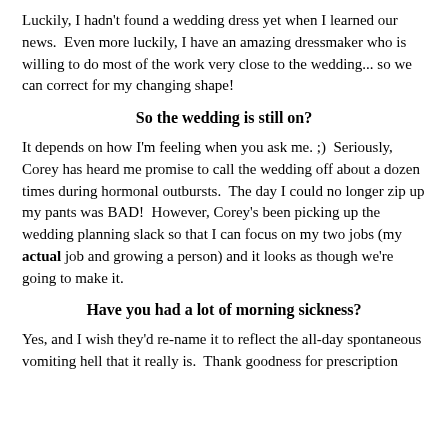Luckily, I hadn't found a wedding dress yet when I learned our news.  Even more luckily, I have an amazing dressmaker who is willing to do most of the work very close to the wedding... so we can correct for my changing shape!
So the wedding is still on?
It depends on how I'm feeling when you ask me. ;)  Seriously, Corey has heard me promise to call the wedding off about a dozen times during hormonal outbursts.  The day I could no longer zip up my pants was BAD!  However, Corey's been picking up the wedding planning slack so that I can focus on my two jobs (my actual job and growing a person) and it looks as though we're going to make it.
Have you had a lot of morning sickness?
Yes, and I wish they'd re-name it to reflect the all-day spontaneous vomiting hell that it really is.  Thank goodness for prescription